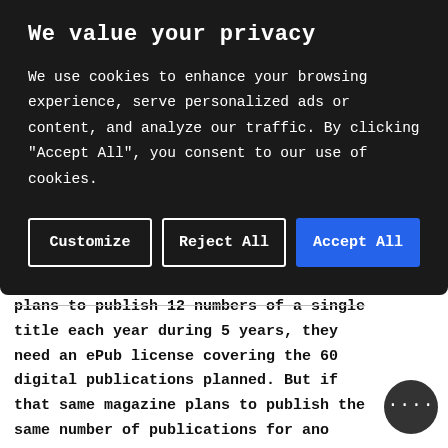We value your privacy
We use cookies to enhance your browsing experience, serve personalized ads or content, and analyze our traffic. By clicking "Accept All", you consent to our use of cookies.
Customize
Reject All
Accept All
plans to publish 12 numbers of a single title each year during 5 years, they need an ePub license covering the 60 digital publications planned. But if that same magazine plans to publish the same number of publications for ano magazine title, then they will have opting for an ePub license covering 120 digital publications planned.